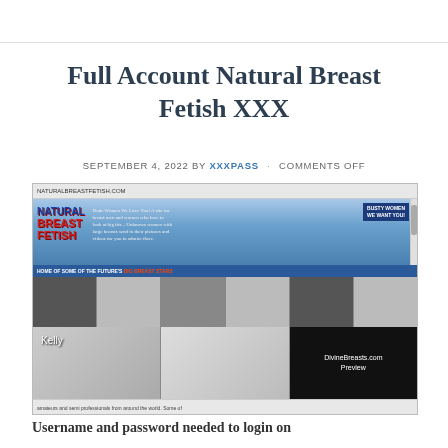Full Account Natural Breast Fetish XXX
SEPTEMBER 4, 2022 BY XXXPASS · COMMENTS OFF
[Figure (screenshot): Screenshot of the NaturalBreastFetish.com website showing the site header with logo, a grid of thumbnail images, and a DivineBreasts.com Preview video thumbnail]
Username and password needed to login on